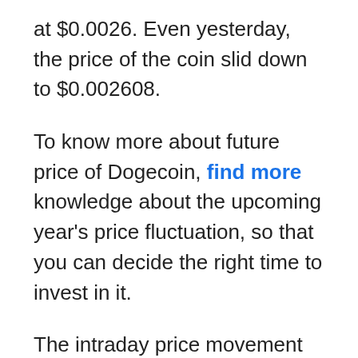at $0.0026. Even yesterday, the price of the coin slid down to $0.002608.
To know more about future price of Dogecoin, find more knowledge about the upcoming year's price fluctuation, so that you can decide the right time to invest in it.
The intraday price movement of DOGE/USD is as follows:
DOGE to USD Price Analysis:
Yesterday, the coin started trading at $0.0026 as a result of an escalation from $0.0025 by 7.20%. Further, the coin jumped to $0.0027 from $0.0025 by 7.10%